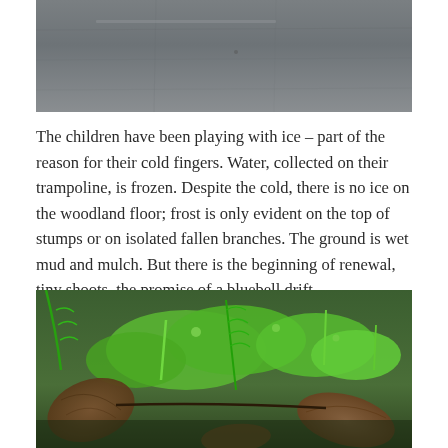[Figure (photo): Top portion of a photo showing a wet, grey surface — appears to be frozen water or ice on a trampoline, with a dark grey textured background.]
The children have been playing with ice – part of the reason for their cold fingers. Water, collected on their trampoline, is frozen. Despite the cold, there is no ice on the woodland floor; frost is only evident on the top of stumps or on isolated fallen branches. The ground is wet mud and mulch. But there is the beginning of renewal, tiny shoots, the promise of a bluebell drift.
[Figure (photo): Close-up photo of a woodland floor showing green moss, fern fronds, tiny plant shoots, and brown fallen leaves, suggesting early signs of spring growth.]